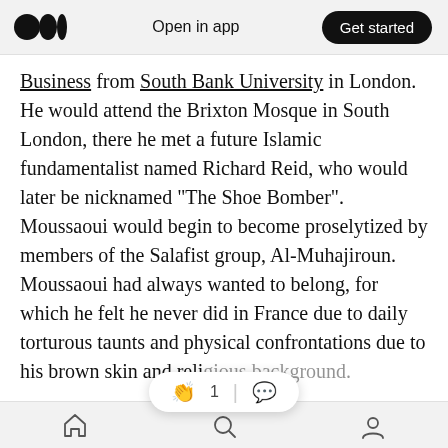Open in app | Get started
Business from South Bank University in London. He would attend the Brixton Mosque in South London, there he met a future Islamic fundamentalist named Richard Reid, who would later be nicknamed “The Shoe Bomber”. Moussaoui would begin to become proselytized by members of the Salafist group, Al-Muhajiroun. Moussaoui had always wanted to belong, for which he felt he never did in France due to daily torturous taunts and physical confrontations due to his brown skin and religious background.
Home | Search | Profile